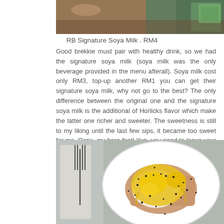[Figure (photo): Top portion of a food/drink photo, partially cropped, showing a table surface with colorful items]
RB Signature Soya Milk . RM4
Good brekkie must pair with healthy drink, so we had the signature soya milk (soya milk was the only beverage provided in the menu afterall). Soya milk cost only RM3, top-up another RM1 you can get their signature soya milk, why not go to the best? The only difference between the original one and the signature soya milk is the additional of Horlicks flavor which make the latter one richer and sweeter. The sweetness is still to my liking until the last few sips, it became too sweet for me. Oops, my bare feet! Yup, you need to leave your shoes at ground floor before you went up here.
[Figure (photo): Overhead view of a white plate with eggs benedict style dish — toast topped with poached egg covered in yellow hollandaise sauce and black sesame seeds, with a fork on the left side]